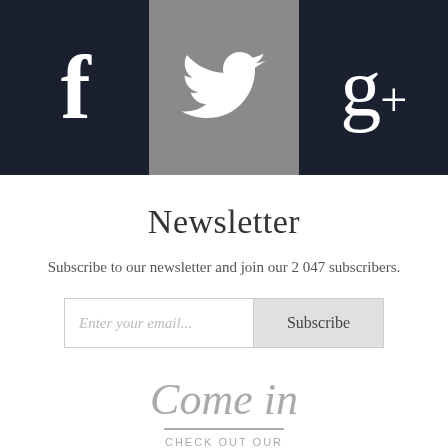[Figure (infographic): Social media icons bar with three columns: Facebook (f) on dark navy background, Twitter bird on gray background, Google+ (g+) on dark navy background]
Newsletter
Subscribe to our newsletter and join our 2 047 subscribers.
[Figure (infographic): Email subscription form with text input placeholder 'Enter your email...' and Subscribe button]
[Figure (infographic): Come in cursive script with underline, CHECK OUT OUR INSTAGRAM text, and Instagram camera icon]